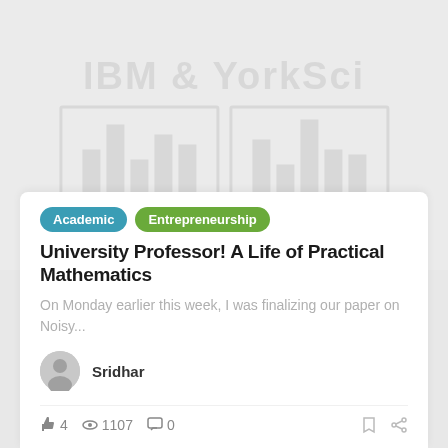[Figure (illustration): Faded gray watermark-style image showing a bar chart graphic and decorative text that reads like a blog platform header, on a light gray background]
Academic
Entrepreneurship
University Professor! A Life of Practical Mathematics
On Monday earlier this week, I was finalizing our paper on Noisy...
Sridhar
4  1107  0